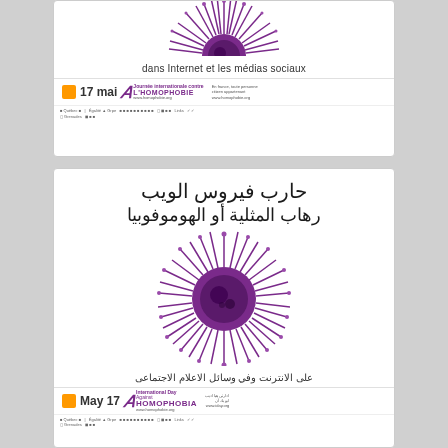[Figure (illustration): Top portion of a purple spiky virus/coronavirus illustration (cropped), above French text for an anti-homophobia campaign]
dans Internet et les médias sociaux
[Figure (logo): Orange square logo, '17 mai' date text, and International Day Against Homophobia logo with IDAHO text and website]
Sponsors and partners row (small logos and text)
حارب فيروس الويب
رهاب المثلية أو الهوموفوبيا
[Figure (illustration): Purple spiky virus/coronavirus illustration representing homophobia on the web]
على الانترنت وفي وسائل الاعلام الاجتماعى
[Figure (logo): Orange square logo, 'May 17' date text, International Day Against Homophobia logo with HOMOPHOBIA text and website]
Sponsors and partners row (small logos and text)